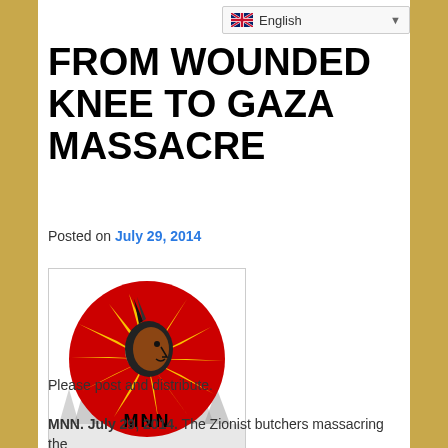English
FROM WOUNDED KNEE TO GAZA MASSACRE
Posted on July 29, 2014
[Figure (logo): MNN logo: red circle with yellow sun rays and Native American face profile, text MNN at bottom, trees silhouette at base]
Please post and distribute.
MNN. July 29, 2014. The Zionist butchers massacring the